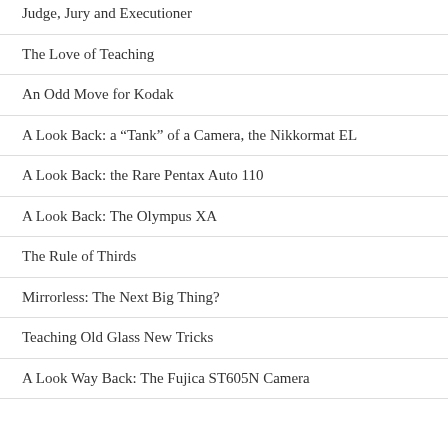Judge, Jury and Executioner
The Love of Teaching
An Odd Move for Kodak
A Look Back: a “Tank” of a Camera, the Nikkormat EL
A Look Back: the Rare Pentax Auto 110
A Look Back: The Olympus XA
The Rule of Thirds
Mirrorless: The Next Big Thing?
Teaching Old Glass New Tricks
A Look Way Back: The Fujica ST605N Camera